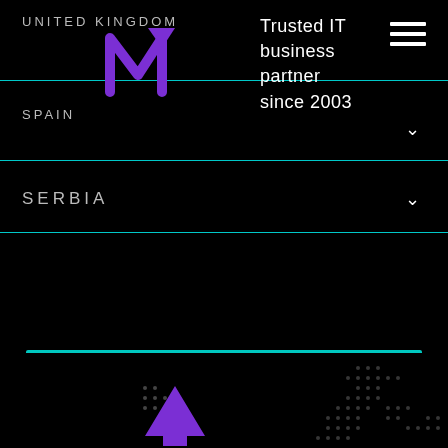UNITED KINGDOM
[Figure (logo): Purple diagonal arrow/N logo]
Trusted IT business partner since 2003
SPAIN
SERBIA
Contact us
[Figure (illustration): Decorative dot patterns and purple arrow at bottom of page]